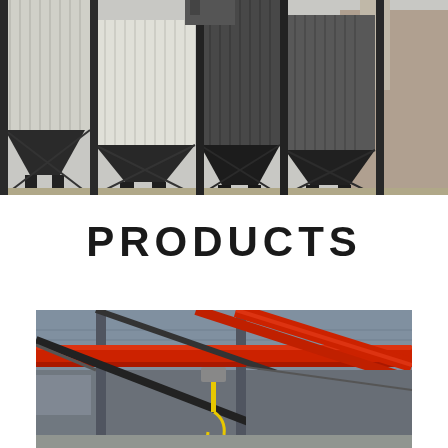[Figure (photo): Industrial facility showing large metal silos or storage bins with corrugated metal siding in silver/grey, supported by black steel framework with X-bracing. Multiple units visible side by side.]
PRODUCTS
[Figure (photo): Interior of an industrial warehouse or factory showing overhead crane system with red beams and girders against a corrugated metal roof. A yellow hook is visible hanging from the crane.]